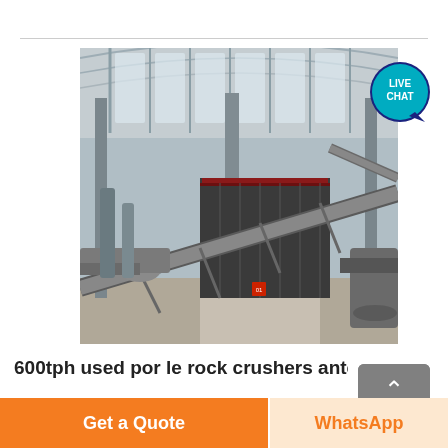[Figure (photo): Industrial facility interior showing conveyor belts, pipes, and heavy machinery inside a large steel-framed warehouse building]
[Figure (infographic): Live Chat speech bubble badge in teal/dark blue colors with white text 'LIVE CHAT']
[Figure (other): Back to top button - grey square with upward arrow and 'Top' text]
600tph used por le rock crushers antexpha m
Get a Quote
WhatsApp